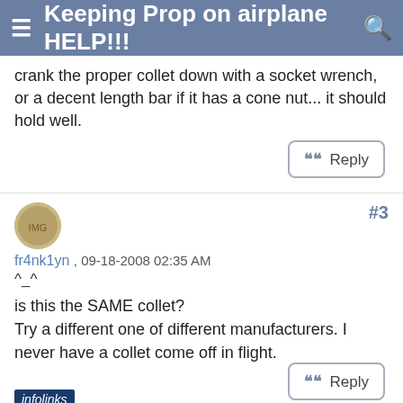Keeping Prop on airplane HELP!!!
crank the proper collet down with a socket wrench, or a decent length bar if it has a cone nut... it should hold well.
fr4nk1yn , 09-18-2008 02:35 AM
^_^
is this the SAME collet?
Try a different one of different manufacturers. I never have a collet come off in flight.
[Figure (screenshot): Seamless food delivery advertisement banner with pizza image, 'seamless' red button, and 'ORDER NOW' button]
infolinks